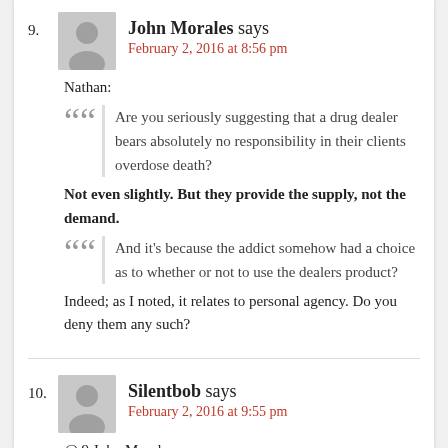9. John Morales says
February 2, 2016 at 8:56 pm
Nathan:
““ Are you seriously suggesting that a drug dealer bears absolutely no responsibility in their clients overdose death?
Not even slightly. But they provide the supply, not the demand.
““ And it’s because the addict somehow had a choice as to whether or not to use the dealers product?
Indeed; as I noted, it relates to personal agency. Do you deny them any such?
10. Silentbob says
February 2, 2016 at 9:55 pm
@ 9 John Morales